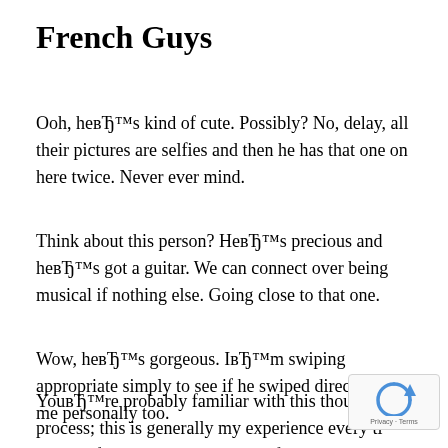French Guys
Ooh, heвЂ™s kind of cute. Possibly? No, delay, all their pictures are selfies and then he has that one on here twice. Never ever mind.
Think about this person? HeвЂ™s precious and heвЂ™s got a guitar. We can connect over being musical if nothing else. Going close to that one.
Wow, heвЂ™s gorgeous. IвЂ™m swiping appropriate simply to see if he swiped directly on me personally too.
YouвЂ™re probably familiar with this thought process; this is generally my experience every ti open it if youвЂ™re on Tinder. If you are unkno wn,